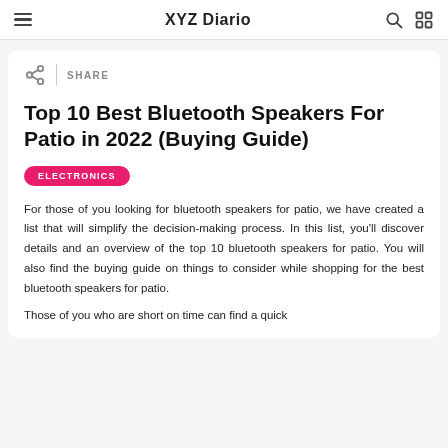XYZ Diario
SHARE
Top 10 Best Bluetooth Speakers For Patio in 2022 (Buying Guide)
ELECTRONICS
For those of you looking for bluetooth speakers for patio, we have created a list that will simplify the decision-making process. In this list, you'll discover details and an overview of the top 10 bluetooth speakers for patio. You will also find the buying guide on things to consider while shopping for the best bluetooth speakers for patio.
Those of you who are short on time can find a quick